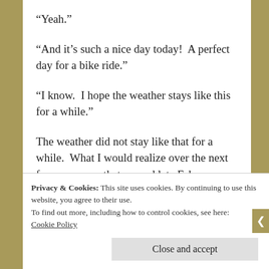“Yeah.”
“And it’s such a nice day today!  A perfect day for a bike ride.”
“I know.  I hope the weather stays like this for a while.”
The weather did not stay like that for a while.  What I would realize over the next few years was that around late February or early March
Privacy & Cookies: This site uses cookies. By continuing to use this website, you agree to their use.
To find out more, including how to control cookies, see here:
Cookie Policy
Close and accept